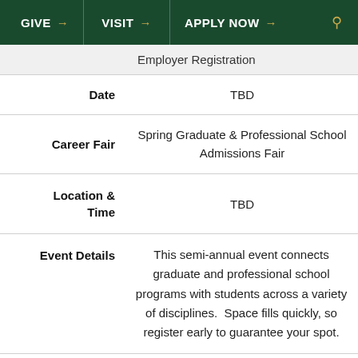GIVE → VISIT → APPLY NOW →
|  |  |
| --- | --- |
|  | Employer Registration |
| Date | TBD |
| Career Fair | Spring Graduate & Professional School Admissions Fair |
| Location & Time | TBD |
| Event Details | This semi-annual event connects graduate and professional school programs with students across a variety of disciplines.  Space fills quickly, so register early to guarantee your spot. |
| Info and | Info for Students |